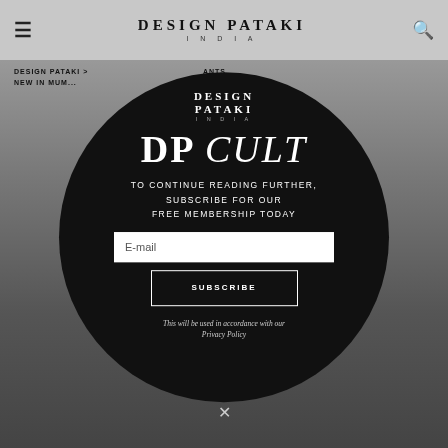DESIGN PATAKI INDIA
DESIGN PATAKI > NEW IN MUM... ANTS
[Figure (screenshot): Design Pataki website screenshot with modal subscription popup over a restaurant interior photo. The modal is a dark circle containing the Design Pataki India logo, DP CULT heading, subscribe prompt, email input field, subscribe button, and privacy policy note.]
DP CULT
TO CONTINUE READING FURTHER, SUBSCRIBE FOR OUR FREE MEMBERSHIP TODAY
E-mail
SUBSCRIBE
This will be used in accordance with our Privacy Policy